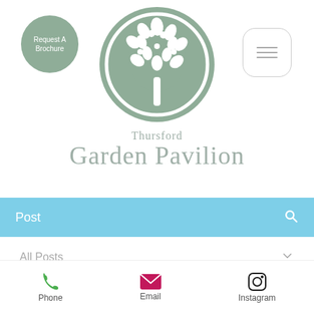[Figure (logo): Circular green logo with decorative tree illustration for Thursford Garden Pavilion, plus a smaller circular 'Request A Brochure' button and hamburger menu icon]
Thursford Garden Pavilion
Post
All Posts
Jan 13 • 3 min
Phone  Email  Instagram